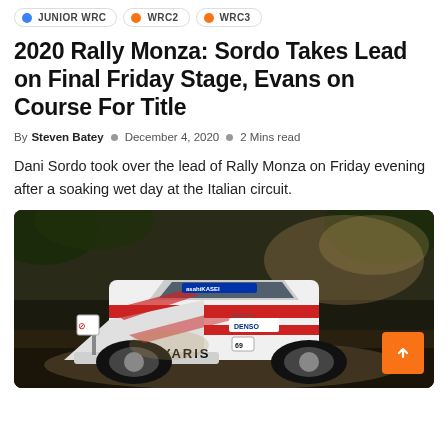JUNIOR WRC  WRC2  WRC3
2020 Rally Monza: Sordo Takes Lead on Final Friday Stage, Evans on Course For Title
By Steven Batey   December 4, 2020   2 Mins read
Dani Sordo took over the lead of Rally Monza on Friday evening after a soaking wet day at the Italian circuit.
[Figure (photo): A Toyota Yaris WRC rally car kicking up dust/gravel on a stage, with sponsors including DENSO, Microsoft and Asahi Kasei visible on the car livery.]